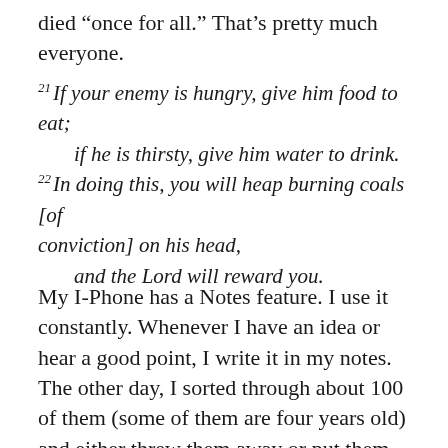died “once for all.” That’s pretty much everyone.
21 If your enemy is hungry, give him food to eat; if he is thirsty, give him water to drink. 22 In doing this, you will heap burning coals [of conviction] on his head, and the Lord will reward you.
My I-Phone has a Notes feature. I use it constantly. Whenever I have an idea or hear a good point, I write it in my notes. The other day, I sorted through about 100 of them (some of them are four years old) and either threw them away or put them into folders. One of them drew my eye, so here it is: